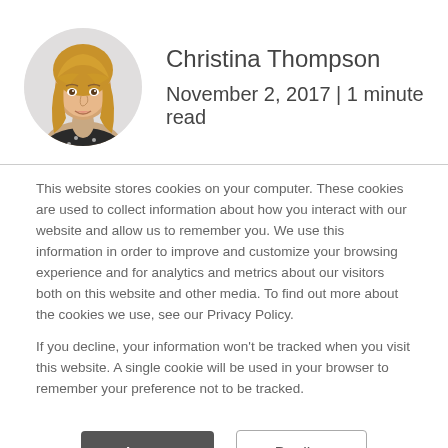[Figure (photo): Circular profile photo of a young woman with long blonde hair, wearing a dark top with small white dots, against a light grey background.]
Christina Thompson
November 2, 2017 | 1 minute read
This website stores cookies on your computer. These cookies are used to collect information about how you interact with our website and allow us to remember you. We use this information in order to improve and customize your browsing experience and for analytics and metrics about our visitors both on this website and other media. To find out more about the cookies we use, see our Privacy Policy.
If you decline, your information won't be tracked when you visit this website. A single cookie will be used in your browser to remember your preference not to be tracked.